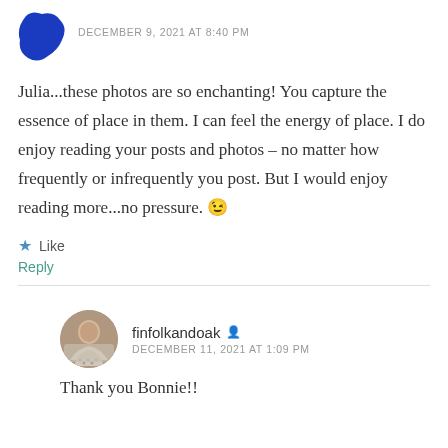[Figure (illustration): Blue silhouette avatar icon of a person]
DECEMBER 9, 2021 AT 8:40 PM
Julia...these photos are so enchanting! You capture the essence of place in them. I can feel the energy of place. I do enjoy reading your posts and photos – no matter how frequently or infrequently you post. But I would enjoy reading more...no pressure. 😉
Like
Reply
[Figure (photo): Circular profile photo of finfolkandoak, a person wearing a patterned sweater]
finfolkandoak
DECEMBER 11, 2021 AT 1:09 PM
Thank you Bonnie!!